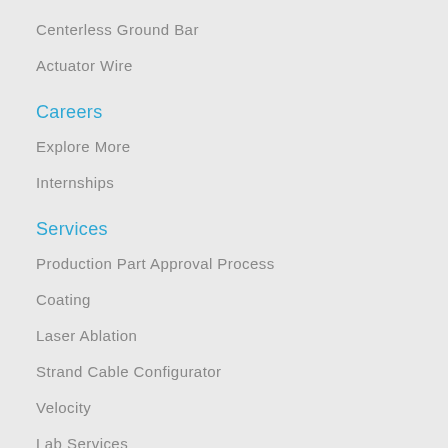Centerless Ground Bar
Actuator Wire
Careers
Explore More
Internships
Services
Production Part Approval Process
Coating
Laser Ablation
Strand Cable Configurator
Velocity
Lab Services
R & D
Packaging